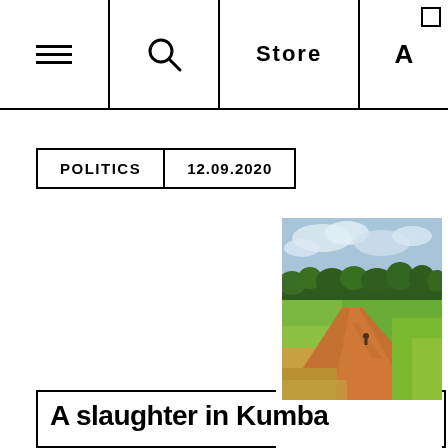Store A
POLITICS  12.09.2020
[Figure (photo): A dirt red road stretching through green fields and grasslands with a lone figure walking, dense tropical forest in the background under a cloudy sky.]
A slaughter in Kumba